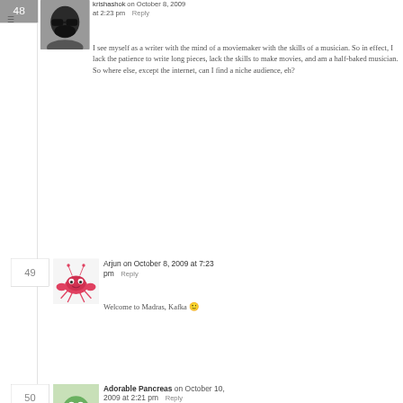krishashok on October 8, 2009 at 2:23 pm  Reply
I see myself as a writer with the mind of a moviemaker with the skills of a musician. So in effect, I lack the patience to write long pieces, lack the skills to make movies, and am a half-baked musician. So where else, except the internet, can I find a niche audience, eh?
Arjun on October 8, 2009 at 7:23 pm  Reply
Welcome to Madras, Kafka 🙂
Adorable Pancreas on October 10, 2009 at 2:21 pm  Reply